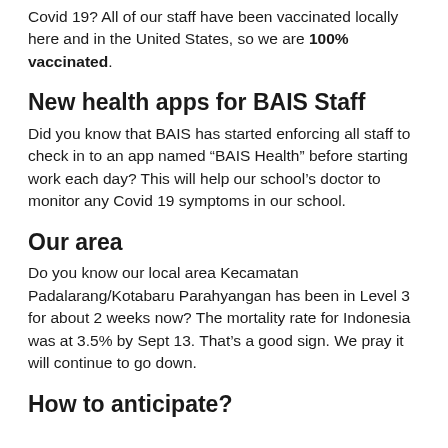Covid 19? All of our staff have been vaccinated locally here and in the United States, so we are 100% vaccinated.
New health apps for BAIS Staff
Did you know that BAIS has started enforcing all staff to check in to an app named “BAIS Health” before starting work each day? This will help our school’s doctor to monitor any Covid 19 symptoms in our school.
Our area
Do you know our local area Kecamatan Padalarang/Kotabaru Parahyangan has been in Level 3 for about 2 weeks now? The mortality rate for Indonesia was at 3.5% by Sept 13. That’s a good sign. We pray it will continue to go down.
How to anticipate?